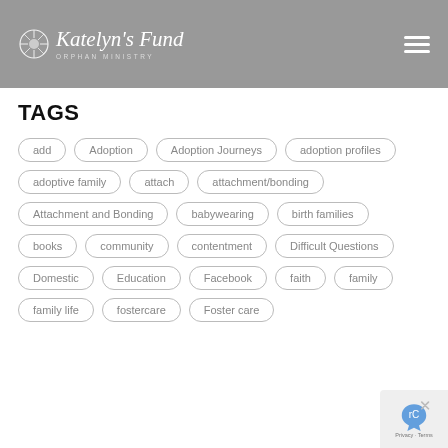Katelyn's Fund ORPHAN MINISTRY
TAGS
add
Adoption
Adoption Journeys
adoption profiles
adoptive family
attach
attachment/bonding
Attachment and Bonding
babywearing
birth families
books
community
contentment
Difficult Questions
Domestic
Education
Facebook
faith
family
family life
fostercare
Foster care